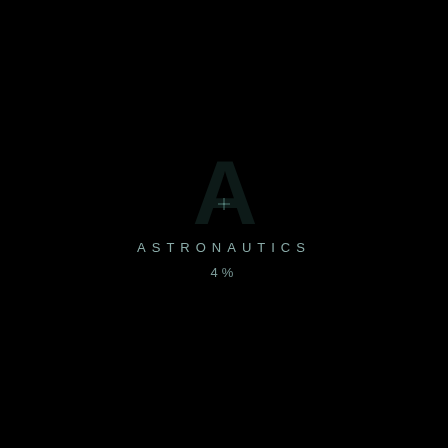[Figure (other): A faint crosshair/plus symbol rendered in dark teal/grey against a black background, positioned above the text labels]
ASTRONAUTICS
4%